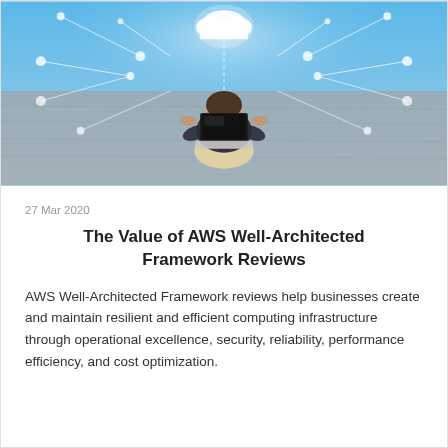[Figure (photo): Aerial view of a person sitting at a desk using a laptop, with a network/cloud computing graphic overlay showing a cloud icon at center top and connected nodes with glowing lines on a blue background]
27 Mar 2020
The Value of AWS Well-Architected Framework Reviews
AWS Well-Architected Framework reviews help businesses create and maintain resilient and efficient computing infrastructure through operational excellence, security, reliability, performance efficiency, and cost optimization.